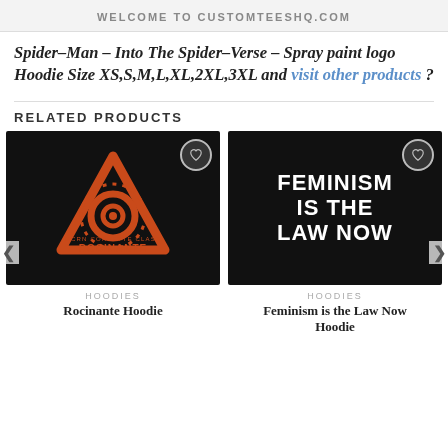WELCOME TO CUSTOMTEESHQ.COM
Spider-Man – Into The Spider-Verse – Spray paint logo Hoodie Size XS,S,M,L,XL,2XL,3XL and visit other products ?
RELATED PRODUCTS
[Figure (photo): Black hoodie with orange distressed triangle logo reading MCRN CORVETTE CLASS ROCINANTE]
HOODIES
Rocinante Hoodie
[Figure (photo): Black hoodie with white bold text reading FEMINISM IS THE LAW NOW]
HOODIES
Feminism is the Law Now Hoodie